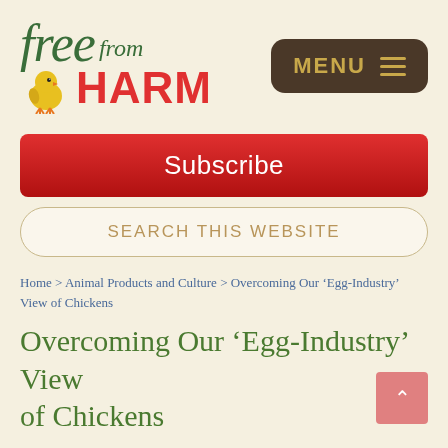[Figure (logo): Free from HARM logo with a yellow chick illustration. 'free' in italic green serif font, 'from' in italic green serif font, 'HARM' in bold red sans-serif font.]
MENU
Subscribe
SEARCH THIS WEBSITE
Home > Animal Products and Culture > Overcoming Our ‘Egg-Industry’ View of Chickens
Overcoming Our ‘Egg-Industry’ View of Chickens